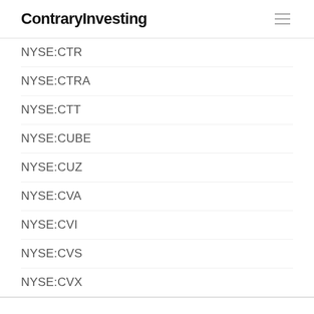ContraryInvesting
NYSE:CTR
NYSE:CTRA
NYSE:CTT
NYSE:CUBE
NYSE:CUZ
NYSE:CVA
NYSE:CVI
NYSE:CVS
NYSE:CVX
This website uses cookies to improve your experience. We'll assume you're ok with this, but you can opt-out if you wish. Cookie settings ACCEPT